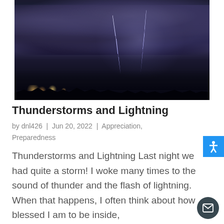[Figure (photo): Dramatic night-time thunderstorm photo showing multiple lightning bolts striking over a city skyline silhouetted by dark storm clouds]
Thunderstorms and Lightning
by dnl426 | Jun 20, 2022 | Appreciation, Preparedness
Thunderstorms and Lightning Last night we had quite a storm! I woke many times to the sound of thunder and the flash of lightning. When that happens, I often think about how blessed I am to be inside,